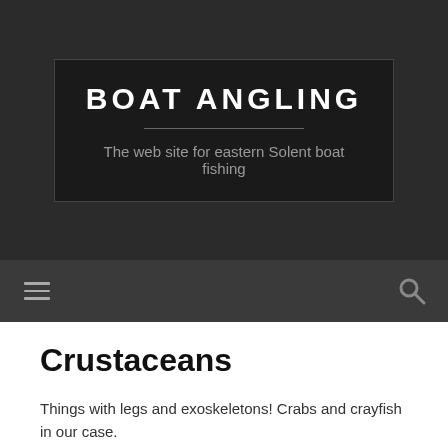BOAT ANGLING
The web site for eastern Solent boat fishing
Crustaceans
Things with legs and exoskeletons! Crabs and crayfish in our case.
See the drop-down menu above for individual recipes.